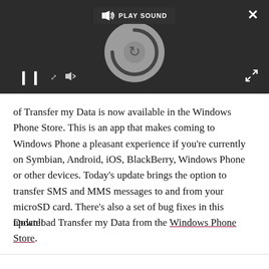[Figure (screenshot): Video player UI with dark background showing a loading spinner circle, pause button, play sound bar at top, close button (X) top right, expand button bottom right, and shrink/volume controls at bottom left.]
of Transfer my Data is now available in the Windows Phone Store. This is an app that makes coming to Windows Phone a pleasant experience if you're currently on Symbian, Android, iOS, BlackBerry, Windows Phone or other devices. Today's update brings the option to transfer SMS and MMS messages to and from your microSD card. There's also a set of bug fixes in this update!
Download Transfer my Data from the Windows Phone Store.